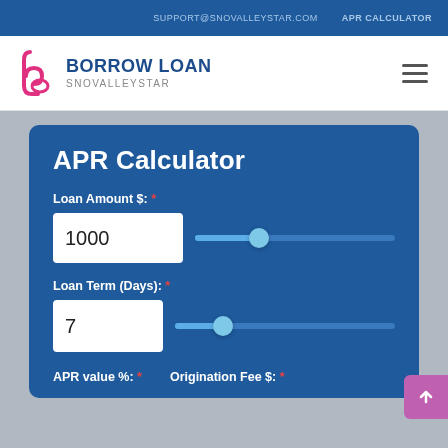SUPPORT@SNOVALLEYSTAR.COM   APR CALCULATOR
[Figure (logo): Borrow Loan SnoValleyStar logo with stylized 'b' icon and hamburger menu]
APR Calculator
Loan Amount $: *
1000
Loan Term (Days): *
7
APR value %: *   Origination Fee $: *